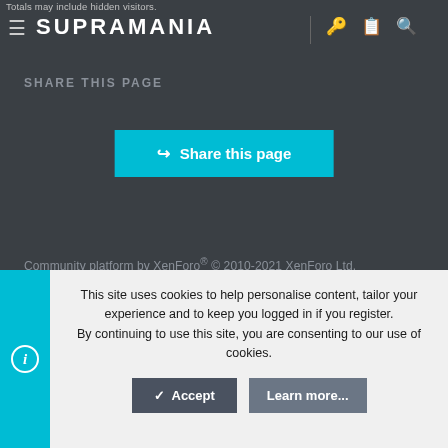Totals may include hidden visitors. SUPRAMANIA
SHARE THIS PAGE
Share this page
Community platform by XenForo® © 2010-2021 XenForo Ltd.
Contact us   Terms and rules   Privacy policy   Help   Home
This site uses cookies to help personalise content, tailor your experience and to keep you logged in if you register. By continuing to use this site, you are consenting to our use of cookies.
Accept   Learn more...